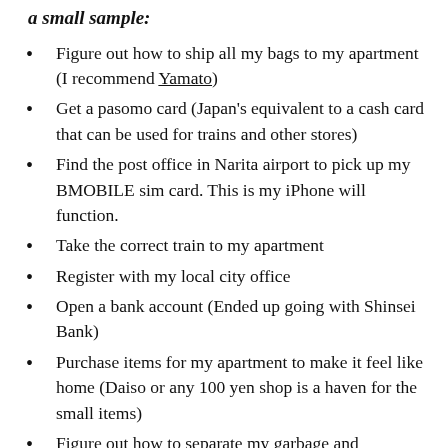a small sample:
Figure out how to ship all my bags to my apartment (I recommend Yamato)
Get a pasomo card (Japan's equivalent to a cash card that can be used for trains and other stores)
Find the post office in Narita airport to pick up my BMOBILE sim card. This is my iPhone will function.
Take the correct train to my apartment
Register with my local city office
Open a bank account (Ended up going with Shinsei Bank)
Purchase items for my apartment to make it feel like home (Daiso or any 100 yen shop is a haven for the small items)
Figure out how to separate my garbage and recyclables
Translate my washing machine and rice cooker